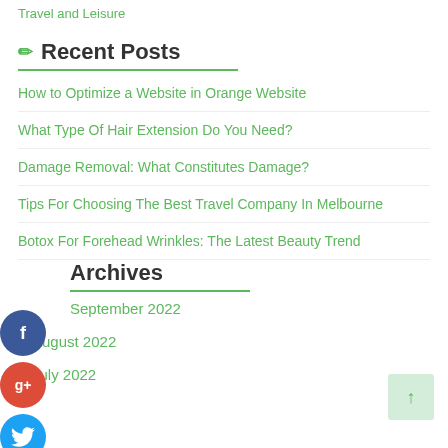Travel and Leisure
Recent Posts
How to Optimize a Website in Orange Website
What Type Of Hair Extension Do You Need?
Damage Removal: What Constitutes Damage?
Tips For Choosing The Best Travel Company In Melbourne
Botox For Forehead Wrinkles: The Latest Beauty Trend
Archives
September 2022
August 2022
July 2022